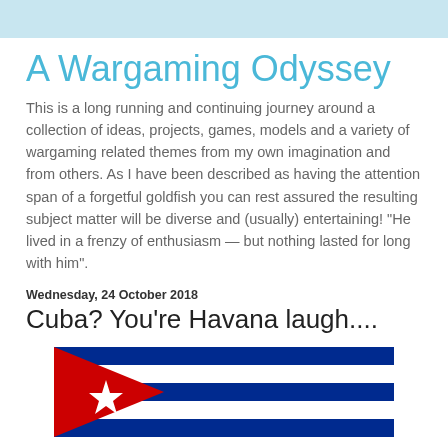A Wargaming Odyssey
This is a long running and continuing journey around a collection of ideas, projects, games, models and a variety of wargaming related themes from my own imagination and from others. As I have been described as having the attention span of a forgetful goldfish you can rest assured the resulting subject matter will be diverse and (usually) entertaining! "He lived in a frenzy of enthusiasm — but nothing lasted for long with him".
Wednesday, 24 October 2018
Cuba? You're Havana laugh....
[Figure (illustration): Cuban flag — blue and white horizontal stripes with red triangle on the left containing a white star, partially cut off at bottom of page]